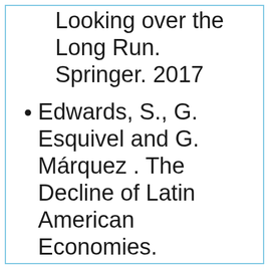Looking over the Long Run. Springer. 2017
Edwards, S., G. Esquivel and G. Márquez . The Decline of Latin American Economies.